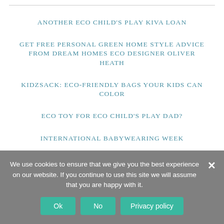ANOTHER ECO CHILD'S PLAY KIVA LOAN
GET FREE PERSONAL GREEN HOME STYLE ADVICE FROM DREAM HOMES ECO DESIGNER OLIVER HEATH
KIDZSACK: ECO-FRIENDLY BAGS YOUR KIDS CAN COLOR
ECO TOY FOR ECO CHILD'S PLAY DAD?
INTERNATIONAL BABYWEARING WEEK
We use cookies to ensure that we give you the best experience on our website. If you continue to use this site we will assume that you are happy with it.